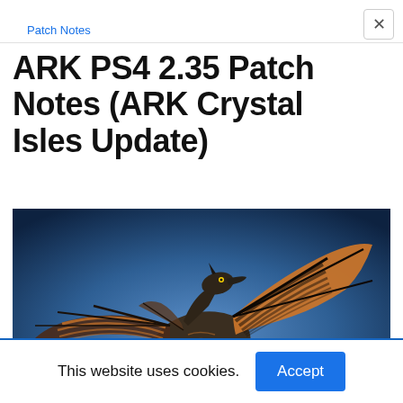Patch Notes
ARK PS4 2.35 Patch Notes (ARK Crystal Isles Update)
[Figure (photo): A large winged dragon creature with orange and black striped wings spread wide, standing on dark ground against a blue misty background. The creature appears to be from the video game ARK: Survival Evolved.]
This website uses cookies.  Accept